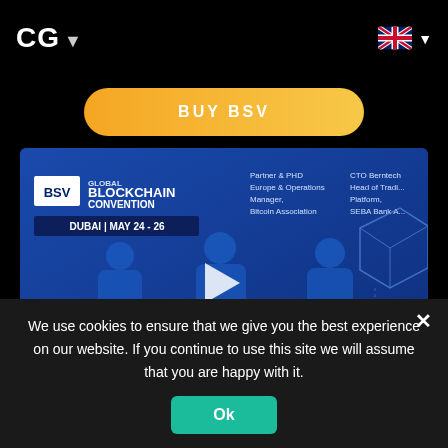CG ▾
BUY BSV
[Figure (screenshot): BSV Global Blockchain Convention Dubai May 24-26 Day 3 Livestream video thumbnail with play button, speakers on stage against blue background]
We use cookies to ensure that we give you the best experience on our website. If you continue to use this site we will assume that you are happy with it.
Ok